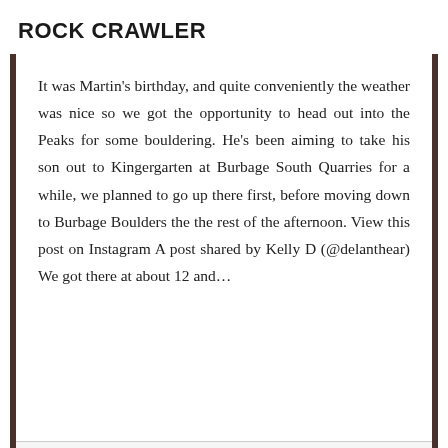ROCK CRAWLER
It was Martin's birthday, and quite conveniently the weather was nice so we got the opportunity to head out into the Peaks for some bouldering. He's been aiming to take his son out to Kingergarten at Burbage South Quarries for a while, we planned to go up there first, before moving down to Burbage Boulders the the rest of the afternoon. View this post on Instagram A post shared by Kelly D (@delanthear) We got there at about 12 and…
Privacy & Cookies: This site uses cookies. By continuing to use this website, you agree to their use. To find out more, including how to control cookies, see here: Cookie Policy
Close and accept